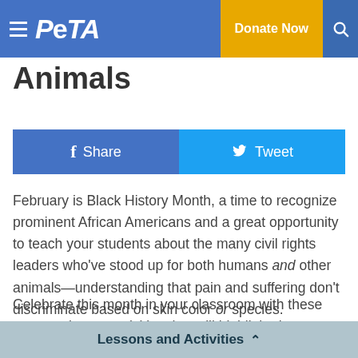PETA — Donate Now
Animals
[Figure (other): Social share buttons: Facebook Share (blue) and Twitter Tweet (light blue)]
February is Black History Month, a time to recognize prominent African Americans and a great opportunity to teach your students about the many civil rights leaders who've stood up for both humans and other animals—understanding that pain and suffering don't discriminate based on skin color or species.
Celebrate this month in your classroom with these compassionate activities that will highlight the contributions of civil rights leaders while fostering kindness
Lessons and Activities ∧